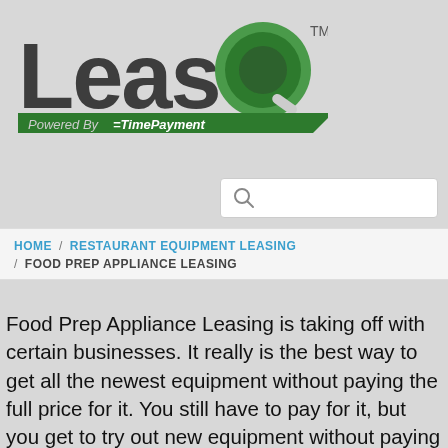[Figure (logo): LeaseQ logo with green Q graphic and 'Powered By ETimePayment' tagline on green banner]
[Figure (screenshot): Search bar with magnifying glass icon]
HOME / RESTAURANT EQUIPMENT LEASING / FOOD PREP APPLIANCE LEASING
Food Prep Appliance Leasing is taking off with certain businesses. It really is the best way to get all the newest equipment without paying the full price for it. You still have to pay for it, but you get to try out new equipment without paying the full price upfront. This can be excellent for any company that uses different kinds of recipes in their food. Why not tr...